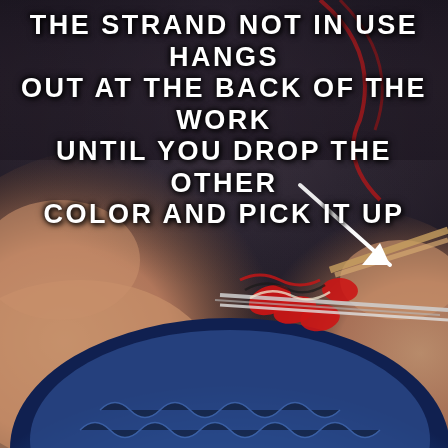[Figure (photo): Close-up photo of hands with red nails knitting with needles, showing colorwork knitting technique with blue, red, and cream yarn strands. The strand not in use hangs at the back of the work. A white arrow points to the back strand. Text overlay at the top reads: THE STRAND NOT IN USE HANGS OUT AT THE BACK OF THE WORK UNTIL YOU DROP THE OTHER COLOR AND PICK IT UP]
THE STRAND NOT IN USE HANGS OUT AT THE BACK OF THE WORK UNTIL YOU DROP THE OTHER COLOR AND PICK IT UP